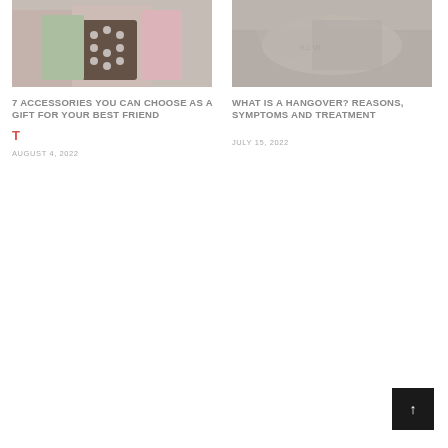[Figure (photo): Women with shopping bags holding a polka-dot gift bag]
7 ACCESSORIES YOU CAN CHOOSE AS A GIFT FOR YOUR BEST FRIEND
T (red icon/logo)
AUGUST 4, 2022
[Figure (photo): Person lying down possibly ill or resting, muted tones]
WHAT IS A HANGOVER? REASONS, SYMPTOMS AND TREATMENT
JULY 15, 2022